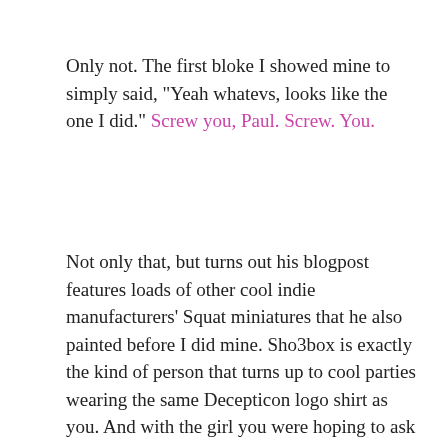Only not. The first bloke I showed mine to simply said, "Yeah whatevs, looks like the one I did." Screw you, Paul. Screw. You.
Not only that, but turns out his blogpost features loads of other cool indie manufacturers' Squat miniatures that he also painted before I did mine. Sho3box is exactly the kind of person that turns up to cool parties wearing the same Decepticon logo shirt as you. And with the girl you were hoping to ask out already on his arm.
[Figure (photo): Photo of two painted fantasy/sci-fi dwarf (Squat) miniatures. The left figure has orange/red hair and beard and holds a weapon. The right figure wears dark armor with yellow details and holds guns.]